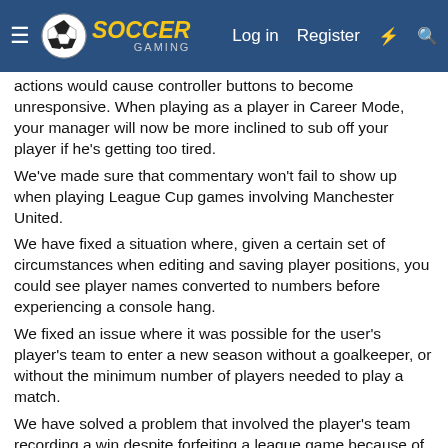Soccer Gaming - Log in | Register
actions would cause controller buttons to become unresponsive. When playing as a player in Career Mode, your manager will now be more inclined to sub off your player if he's getting too tired.
We've made sure that commentary won't fail to show up when playing League Cup games involving Manchester United.
We have fixed a situation where, given a certain set of circumstances when editing and saving player positions, you could see player names converted to numbers before experiencing a console hang.
We fixed an issue where it was possible for the user's player's team to enter a new season without a goalkeeper, or without the minimum number of players needed to play a match.
We have solved a problem that involved the player's team recording a win despite forfeiting a league game because of an insufficient match-day squad.
Recently signed Youth Squad players who you're attempting to sell on will now enter negotiations with an accurate, consistent 'Current Wage' displayed, meaning you'll see them picked up